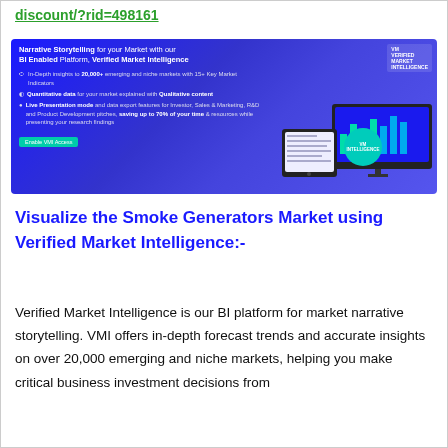discount/?rid=498161
[Figure (infographic): VMI (Verified Market Intelligence) BI platform advertisement banner showing narrative storytelling features, bullet points about in-depth insights, quantitative/qualitative data, live presentation mode, and screens mockup with VMI logo and Intelligence circle.]
Visualize the Smoke Generators Market using Verified Market Intelligence:-
Verified Market Intelligence is our BI platform for market narrative storytelling. VMI offers in-depth forecast trends and accurate insights on over 20,000 emerging and niche markets, helping you make critical business investment decisions from